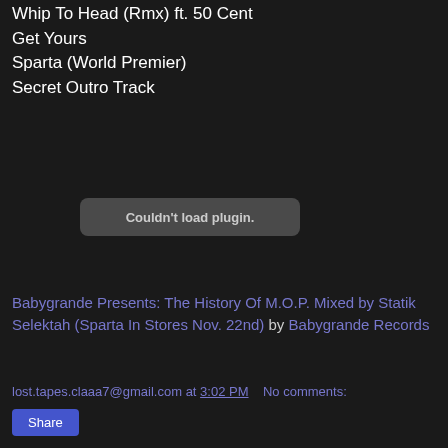Whip To Head (Rmx) ft. 50 Cent
Get Yours
Sparta (World Premier)
Secret Outro Track
[Figure (other): Couldn't load plugin. message box - embedded media player plugin failed to load]
Babygrande Presents: The History Of M.O.P. Mixed by Statik Selektah (Sparta In Stores Nov. 22nd) by Babygrande Records
lost.tapes.claaa7@gmail.com at 3:02 PM   No comments:
Share